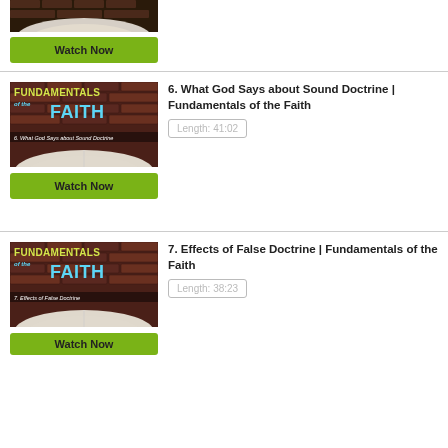[Figure (screenshot): Partially visible thumbnail of an open Bible with brick background, Fundamentals of the Faith series]
Watch Now
[Figure (screenshot): Thumbnail: Fundamentals of the Faith episode 6 - What God Says about Sound Doctrine, open Bible on brick background]
6. What God Says about Sound Doctrine | Fundamentals of the Faith
Length: 41:02
Watch Now
[Figure (screenshot): Thumbnail: Fundamentals of the Faith episode 7 - Effects of False Doctrine, open Bible on brick background]
7. Effects of False Doctrine  | Fundamentals of the Faith
Length: 38:23
Watch Now